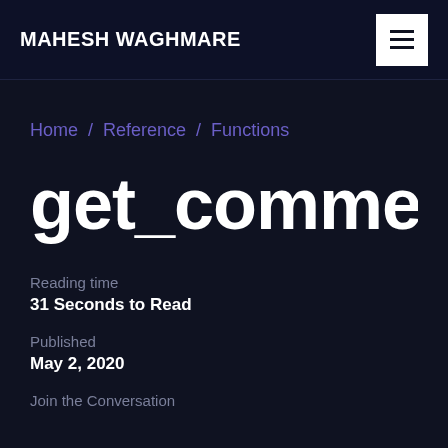MAHESH WAGHMARE
Home / Reference / Functions
get_comment_au
Reading time
31 Seconds to Read
Published
May 2, 2020
Join the Conversation